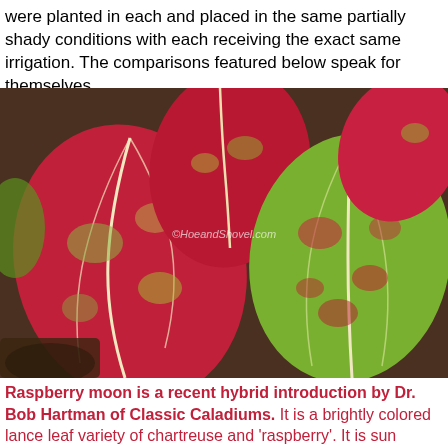were planted in each and placed in the same partially shady conditions with each receiving the exact same irrigation. The comparisons featured below speak for themselves.
[Figure (photo): Close-up photo of Raspberry Moon caladium leaves showing vivid red/raspberry and chartreuse/green lance-shaped leaves with contrasting vein patterns. Watermark reads: ©HoeandShovel.com]
Raspberry moon is a recent hybrid introduction by Dr. Bob Hartman of Classic Caladiums. It is a brightly colored lance leaf variety of chartreuse and 'raspberry'. It is sun tolerant growing from 18- 24" in height.